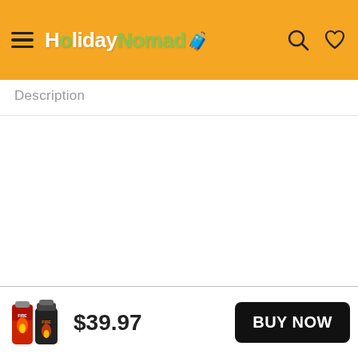[Figure (logo): HolidayNomad logo with hamburger menu and search/heart icons on orange header bar]
Description
[Figure (photo): Product thumbnail image showing two bottles (fire-themed) in the bottom bar]
$39.97
BUY NOW